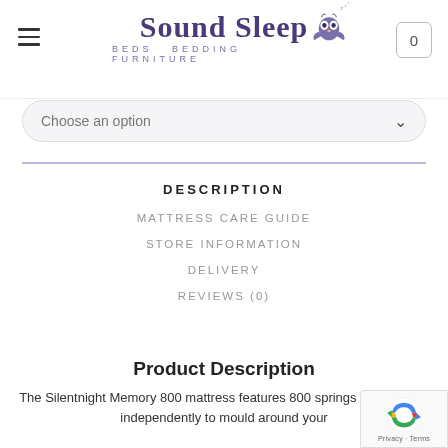Sound Sleep BEDS BEDDING FURNITURE
Choose an option
DESCRIPTION
MATTRESS CARE GUIDE
STORE INFORMATION
DELIVERY
REVIEWS (0)
Product Description
The Silentnight Memory 800 mattress features 800 springs which move independently to mould around your